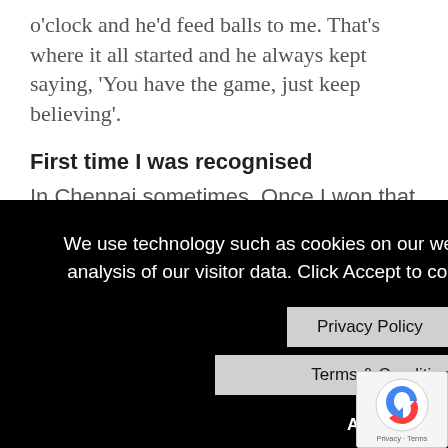o'clock and he'd feed balls to me. That's where it all started and he always kept saying, 'You have the game, just keep believing'.
First time I was recognised
In Chennai sometimes. Once I won that match against Somdev, I slowly started ... beat ... have ... India ... ion on ... a good ... me fun
We use technology such as cookies on our website, to provide functions and analysis of our visitor data. Click Accept to confirm that you agree to its use.
Privacy Policy | Terms & Conditions
ACCEPT
with Mr Nick Bollettieri. I still remember